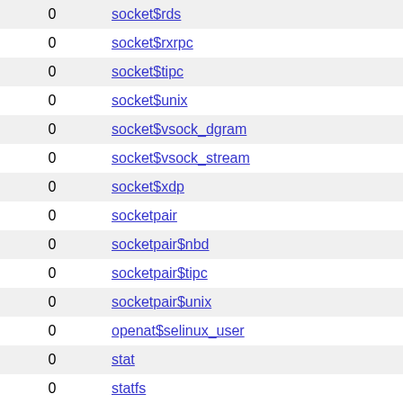|  |  |
| --- | --- |
| 0 | socket$rds |
| 0 | socket$rxrpc |
| 0 | socket$tipc |
| 0 | socket$unix |
| 0 | socket$vsock_dgram |
| 0 | socket$vsock_stream |
| 0 | socket$xdp |
| 0 | socketpair |
| 0 | socketpair$nbd |
| 0 | socketpair$tipc |
| 0 | socketpair$unix |
| 0 | openat$selinux_user |
| 0 | stat |
| 0 | statfs |
| 0 | openat$selinux_relabel |
| 0 | symlink |
| 0 | openat$selinux_member |
| 0 | sync |
| 0 | openat$selinux_load |
| 0 | openat$selinux_create |
| 0 | sysfs$1 |